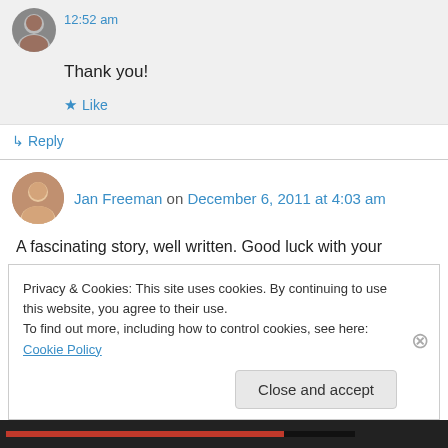12:52 am
Thank you!
★ Like
↳ Reply
Jan Freeman on December 6, 2011 at 4:03 am
A fascinating story, well written. Good luck with your endeavors and thanks for the visit 🙂
Privacy & Cookies: This site uses cookies. By continuing to use this website, you agree to their use.
To find out more, including how to control cookies, see here: Cookie Policy
Close and accept